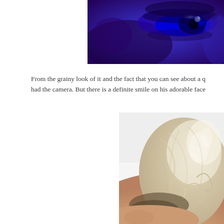[Figure (photo): Close-up photo of a blue-lit eye with vivid blue coloring and dark surroundings, partial face visible]
From the grainy look of it and the fact that you can see about a q had the camera. But there is a definite smile on his adorable face
[Figure (photo): Close-up photo of a person with blonde/white curly hair, top of head and forehead visible, light background]